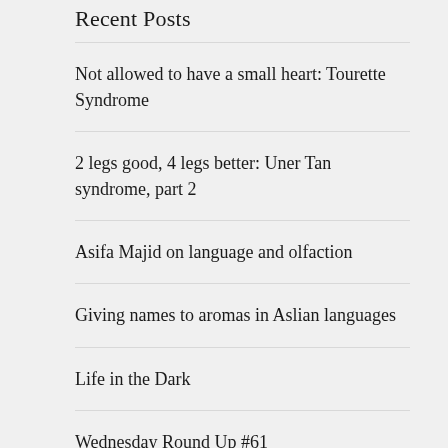Recent Posts
Not allowed to have a small heart: Tourette Syndrome
2 legs good, 4 legs better: Uner Tan syndrome, part 2
Asifa Majid on language and olfaction
Giving names to aromas in Aslian languages
Life in the Dark
Wednesday Round Up #61
Wednesday Round Up #60